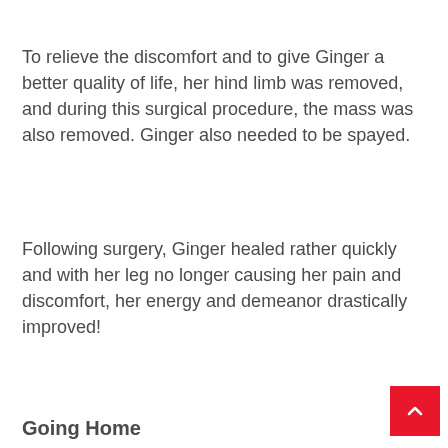To relieve the discomfort and to give Ginger a better quality of life, her hind limb was removed, and during this surgical procedure, the mass was also removed. Ginger also needed to be spayed.
Following surgery, Ginger healed rather quickly and with her leg no longer causing her pain and discomfort, her energy and demeanor drastically improved!
Going Home